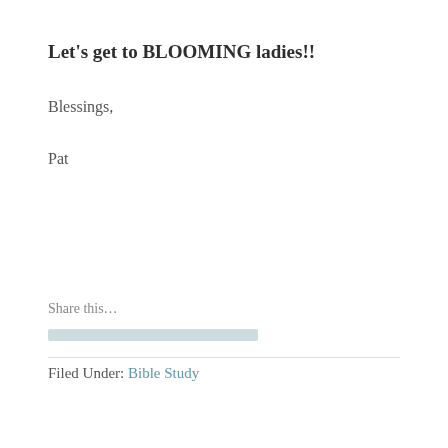Let's get to BLOOMING ladies!!
Blessings,
Pat
Share this...
Filed Under: Bible Study